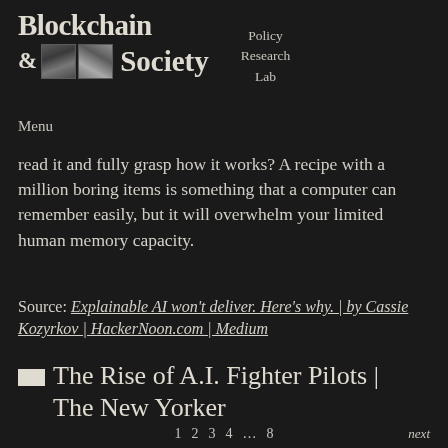Blockchain & Society Policy Research Lab
Menu
read it and fully grasp how it works? A recipe with a million boring items is something that a computer can remember easily, but it will overwhelm your limited human memory capacity.
Source: Explainable AI won't deliver. Here's why. | by Cassie Kozyrkov | HackerNoon.com | Medium
The Rise of A.I. Fighter Pilots | The New Yorker
1  2  3  4  …  8   next